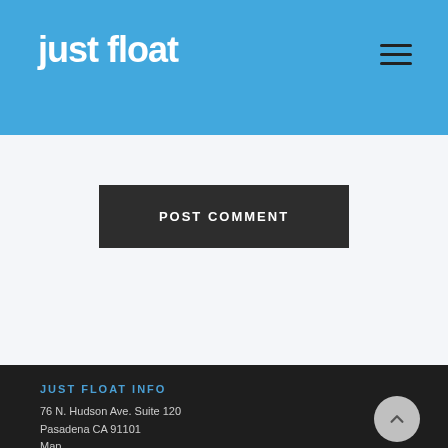just float
POST COMMENT
JUST FLOAT INFO
76 N. Hudson Ave. Suite 120
Pasadena CA 91101
Map